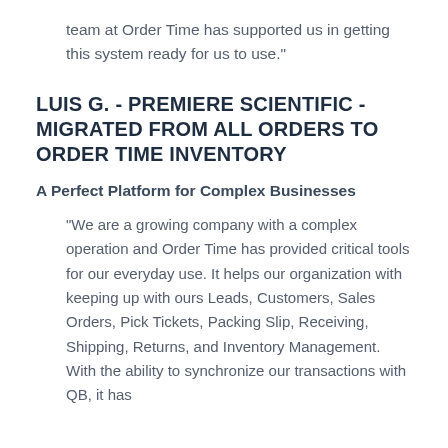team at Order Time has supported us in getting this system ready for us to use."
LUIS G. - PREMIERE SCIENTIFIC - MIGRATED FROM ALL ORDERS TO ORDER TIME INVENTORY
A Perfect Platform for Complex Businesses
"We are a growing company with a complex operation and Order Time has provided critical tools for our everyday use. It helps our organization with keeping up with ours Leads, Customers, Sales Orders, Pick Tickets, Packing Slip, Receiving, Shipping, Returns, and Inventory Management. With the ability to synchronize our transactions with QB, it has